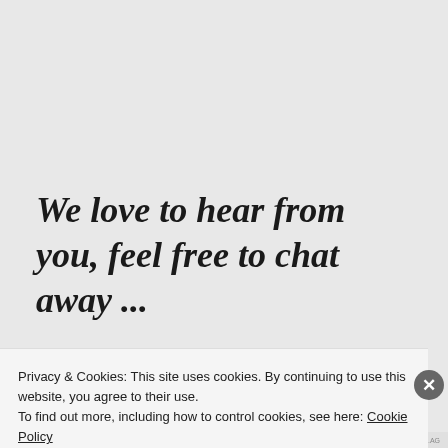We love to hear from you, feel free to chat away ...
[Figure (screenshot): Text input field with placeholder text 'Enter your comment here']
Privacy & Cookies: This site uses cookies. By continuing to use this website, you agree to their use.
To find out more, including how to control cookies, see here: Cookie Policy
Close and accept
AIRPORT-TIME.AG